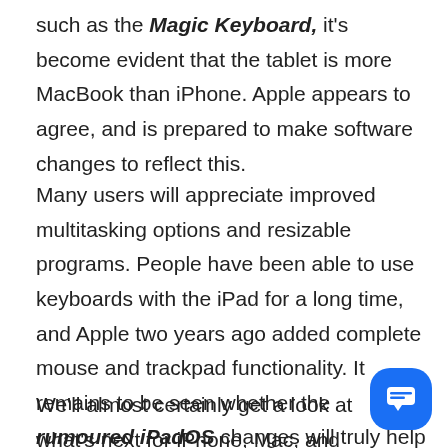such as the Magic Keyboard, it's become evident that the tablet is more MacBook than iPhone. Apple appears to agree, and is prepared to make software changes to reflect this.
Many users will appreciate improved multitasking options and resizable programs. People have been able to use keyboards with the iPad for a long time, and Apple two years ago added complete mouse and trackpad functionality. It remains to be seen whether the rumoured iPadOS changes will truly help the gadget become a laptop killer, but it's evident that Apple isn't giving up on the notion.
We'll almost certainly get a look at what's next for iPhone, Mac, and Apple Watch operating systems at